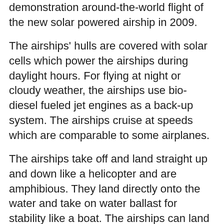demonstration around-the-world flight of the new solar powered airship in 2009.
The airships' hulls are covered with solar cells which power the airships during daylight hours. For flying at night or cloudy weather, the airships use bio-diesel fueled jet engines as a back-up system. The airships cruise at speeds which are comparable to some airplanes.
The airships take off and land straight up and down like a helicopter and are amphibious. They land directly onto the water and take on water ballast for stability like a boat. The airships can land in harbors, rivers, mountain lakes, or the middle of the ocean.
The airships will also land on any empty field or at airports, and use built in systems to anchor to the surface without ground crew assistance. Turtle airships do not need huge hangers and can fly in any weather.